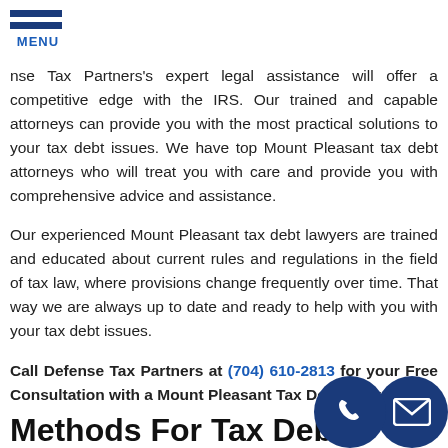[Figure (logo): Blue hamburger menu icon with two horizontal bars and MENU label below]
nse Tax Partners's expert legal assistance will offer a competitive edge with the IRS. Our trained and capable attorneys can provide you with the most practical solutions to your tax debt issues. We have top Mount Pleasant tax debt attorneys who will treat you with care and provide you with comprehensive advice and assistance.
Our experienced Mount Pleasant tax debt lawyers are trained and educated about current rules and regulations in the field of tax law, where provisions change frequently over time. That way we are always up to date and ready to help with you with your tax debt issues.
Call Defense Tax Partners at (704) 610-2813 for your Free Consultation with a Mount Pleasant Tax Debt Attorney!
Methods For Tax Debt
[Figure (illustration): Blue circle contact icons - phone and mail]